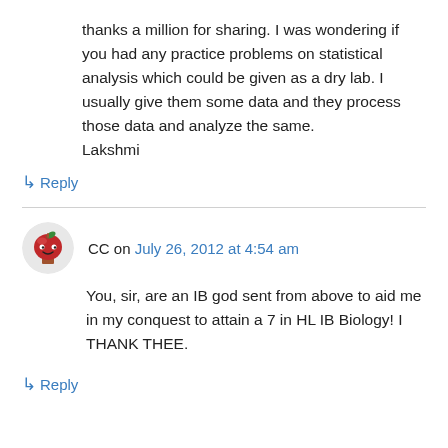thanks a million for sharing. I was wondering if you had any practice problems on statistical analysis which could be given as a dry lab. I usually give them some data and they process those data and analyze the same. Lakshmi
↳ Reply
CC on July 26, 2012 at 4:54 am
You, sir, are an IB god sent from above to aid me in my conquest to attain a 7 in HL IB Biology! I THANK THEE.
↳ Reply